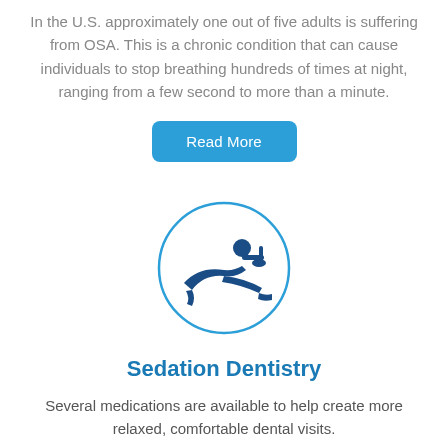In the U.S. approximately one out of five adults is suffering from OSA. This is a chronic condition that can cause individuals to stop breathing hundreds of times at night, ranging from a few second to more than a minute.
[Figure (illustration): Read More button — a teal/blue rounded rectangle button with white text 'Read More']
[Figure (illustration): A circular icon with a thin blue border showing a stylized dental patient reclining in a dentist chair with a dental light above them, rendered in dark navy blue]
Sedation Dentistry
Several medications are available to help create more relaxed, comfortable dental visits.
[Figure (illustration): Partially visible Read More button at bottom of page]